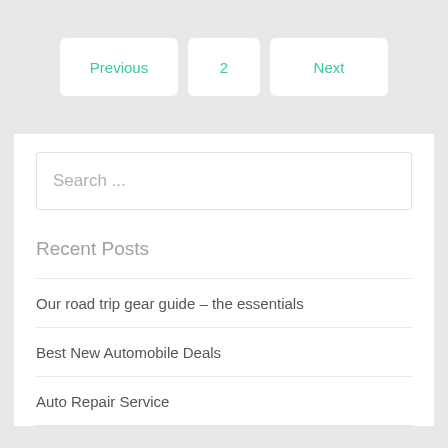Previous
2
Next
Search ...
Recent Posts
Our road trip gear guide – the essentials
Best New Automobile Deals
Auto Repair Service